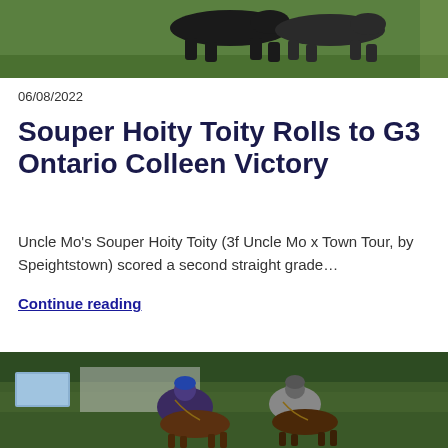[Figure (photo): Horse racing photo at top of page, horses galloping on green turf track]
06/08/2022
Souper Hoity Toity Rolls to G3 Ontario Colleen Victory
Uncle Mo's Souper Hoity Toity (3f Uncle Mo x Town Tour, by Speightstown) scored a second straight grade…
Continue reading
[Figure (photo): Horse racing photo at bottom showing two jockeys racing, #5 in purple and blue silks, #6 in grey silks]